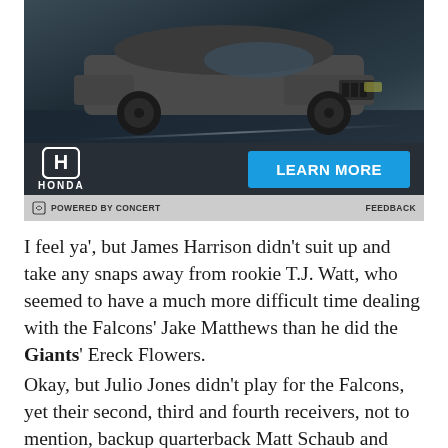[Figure (illustration): Honda advertisement banner showing a dark SUV (possibly Honda Passport or Pilot) on a dark background with a blue 'LEARN MORE' button and the Honda logo]
POWERED BY CONCERT   FEEDBACK
I feel ya', but James Harrison didn't suit up and take any snaps away from rookie T.J. Watt, who seemed to have a much more difficult time dealing with the Falcons' Jake Matthews than he did the Giants' Ereck Flowers.
Okay, but Julio Jones didn't play for the Falcons, yet their second, third and fourth receivers, not to mention, backup quarterback Matt Schaub and third-stringer Matt Sim...